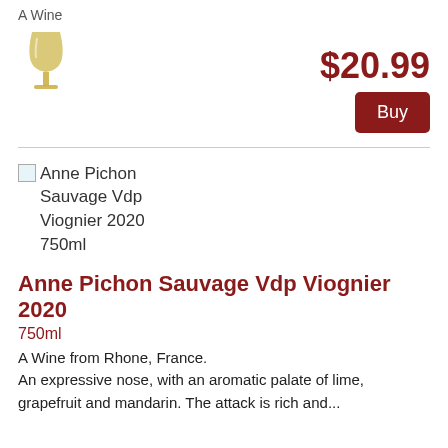A Wine
[Figure (illustration): Yellow wine glass icon]
$20.99
Buy
[Figure (photo): Anne Pichon Sauvage Vdp Viognier 2020 750ml product image placeholder]
Anne Pichon Sauvage Vdp Viognier 2020
750ml
A Wine from Rhone, France.
An expressive nose, with an aromatic palate of lime, grapefruit and mandarin. The attack is rich and...